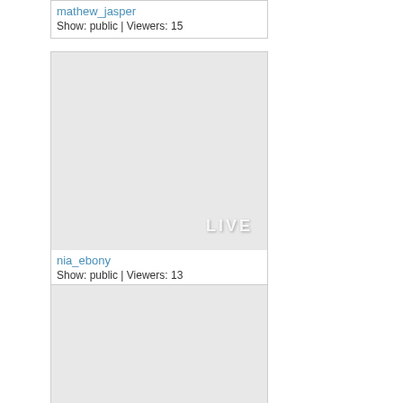mathew_jasper
Show: public | Viewers: 15
[Figure (screenshot): Live stream thumbnail placeholder (gray box) with LIVE watermark text for nia_ebony]
nia_ebony
Show: public | Viewers: 13
[Figure (screenshot): Live stream thumbnail placeholder (gray box) with LIVE watermark text, third card]